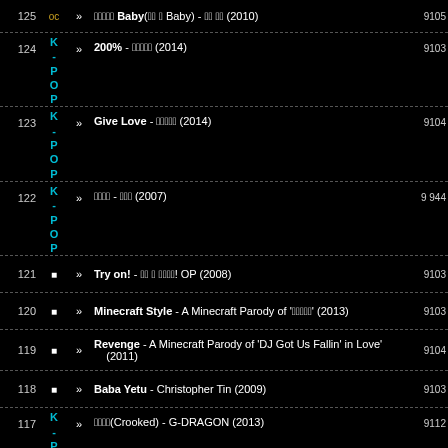125 OC >> 꼬마의 Baby(꼬마 ft Baby) - 꼬마 ft 핫도 (2010) 9105
124 K-P-O-P >> 200% - 악동뮤지션 (2014) 9103
123 K-P-O-P >> Give Love - 악동뮤지션 (2014) 9104
122 K-P-O-P >> 붉은노을 - 빅뱅 (2007) 9 944
121 [] >> Try on! - 마법소녀 마도카! OP (2008) 9103
120 [] >> Minecraft Style - A Minecraft Parody of '아저씨' (2013) 9103
119 [] >> Revenge - A Minecraft Parody of 'DJ Got Us Fallin in Love' (2011) 9104
118 [] >> Baba Yetu - Christopher Tin (2009) 9103
117 K-P-O-P >> 크루서더(Crooked) - G-DRAGON (2013) 9112
116 [] >> Les Militaribles - 어쩌라고 뮤지컬 (2013) 9107